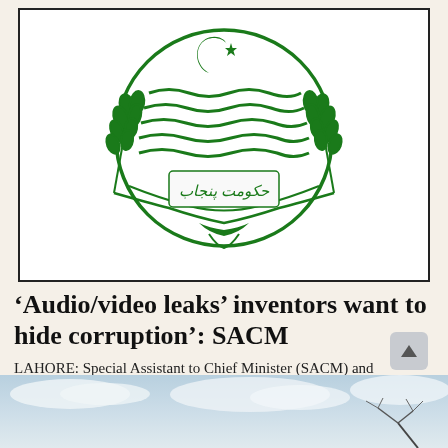[Figure (logo): Government of Punjab (Pakistan) emblem — green circular logo with crescent and star at top, wavy lines representing rivers, wheat stalks on both sides, and Urdu text 'Hukumat-e-Punjab' at bottom. Green on white background, bordered by a black rectangle.]
‘Audio/video leaks’ inventors want to hide corruption’: SACM
LAHORE: Special Assistant to Chief Minister (SACM) and Spokesman Punjab government Hasaan Khawar said on Sunday that...
PUBLISHED 29 NOV, 2021 06:03AM
[Figure (photo): Winter landscape photo showing a snowy/cloudy sky with bare tree branches visible in the lower right corner.]